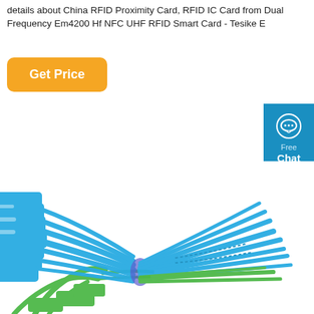details about China RFID Proximity Card, RFID IC Card from Dual Frequency Em4200 Hf NFC UHF RFID Smart Card - Tesike E
[Figure (other): Orange rounded rectangle button labeled 'Get Price']
[Figure (other): Blue chat widget button with speech bubble icon, labeled 'Free Chat']
[Figure (photo): Bundle of blue and green plastic RFID cable tie tags/seals, fanned out showing multiple zip-tie style tags in blue and green colors]